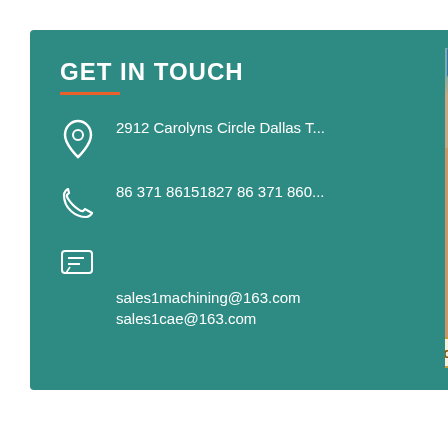GET IN TOUCH
2912 Carolyns Circle Dallas T...
86 371 86151827 86 371 860...
sales1machining@163.com
sales1cae@163.com
[Figure (photo): Customer service representative wearing headset, with 24/7 support icons and Skype logo tiles on the right side, and online live chat button at the bottom]